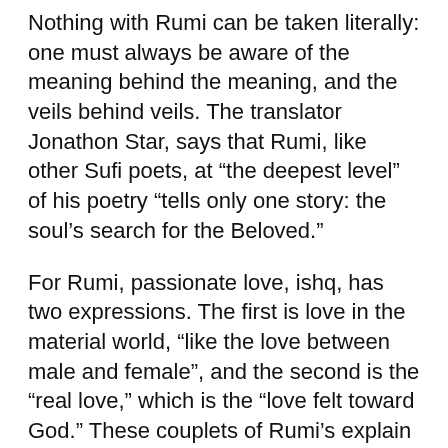Nothing with Rumi can be taken literally: one must always be aware of the meaning behind the meaning, and the veils behind veils. The translator Jonathon Star, says that Rumi, like other Sufi poets, at “the deepest level” of his poetry “tells only one story: the soul’s search for the Beloved.”
For Rumi, passionate love, ishq, has two expressions. The first is love in the material world, “like the love between male and female”, and the second is the “real love,” which is the “love felt toward God.” These couplets of Rumi’s explain how the poet signified both aspects of ishq: